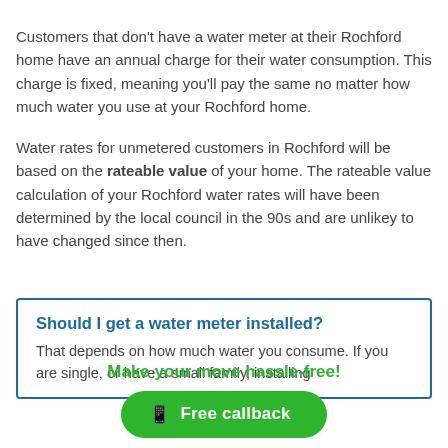Customers that don't have a water meter at their Rochford home have an annual charge for their water consumption. This charge is fixed, meaning you'll pay the same no matter how much water you use at your Rochford home.
Water rates for unmetered customers in Rochford will be based on the rateable value of your home. The rateable value calculation of your Rochford water rates will have been determined by the local council in the 90s and are unlikey to have changed since then.
Should I get a water meter installed?
That depends on how much water you consume. If you are single, or have a small family, installing
Make your move hassle-free!
Free callback